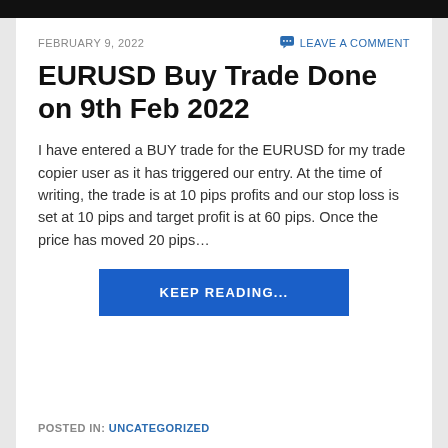FEBRUARY 9, 2022   LEAVE A COMMENT
EURUSD Buy Trade Done on 9th Feb 2022
I have entered a BUY trade for the EURUSD for my trade copier user as it has triggered our entry. At the time of writing, the trade is at 10 pips profits and our stop loss is set at 10 pips and target profit is at 60 pips. Once the price has moved 20 pips…
KEEP READING...
POSTED IN: UNCATEGORIZED